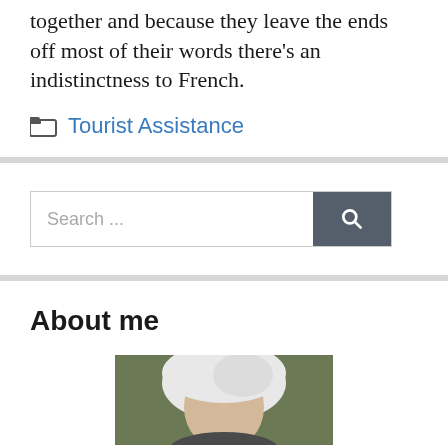together and because they leave the ends off most of their words there’s an indistinctness to French.
Tourist Assistance
Search ...
About me
[Figure (photo): Portrait photo of a person with white/silver hair, partially visible at the bottom of the page]